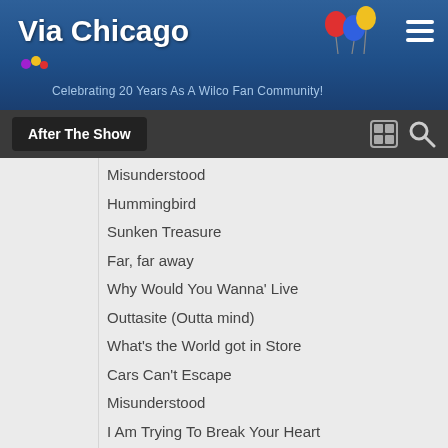Via Chicago — Celebrating 20 Years As A Wilco Fan Community!
After The Show
Misunderstood
Hummingbird
Sunken Treasure
Far, far away
Why Would You Wanna' Live
Outtasite (Outta mind)
What's the World got in Store
Cars Can't Escape
Misunderstood
I Am Trying To Break Your Heart
When the Roses Bloom Again
Either Way
You Are My Face
Impossible Germany
Sky Blue Sky
Side With The Seeds
Hate It Here